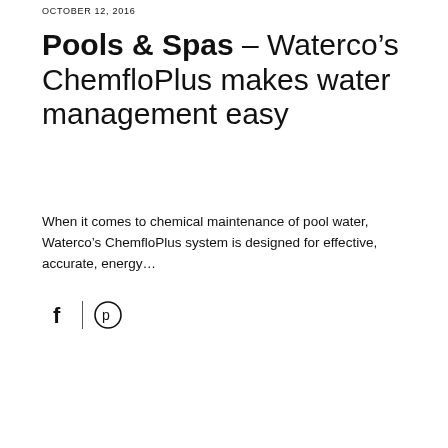OCTOBER 12, 2016
Pools & Spas – Waterco's ChemfloPlus makes water management easy
When it comes to chemical maintenance of pool water, Waterco's ChemfloPlus system is designed for effective, accurate, energy...
[Figure (other): Social share icons: Facebook (f) and Pinterest circle logo]